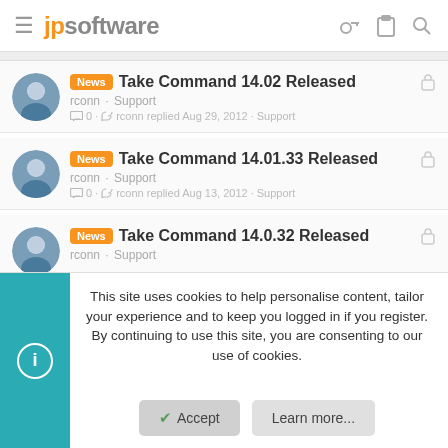jpsoftware
News | Take Command 14.02 Released | rconn · Support | 0 · rconn replied Aug 29, 2012 · Support
News | Take Command 14.01.33 Released | rconn · Support | 0 · rconn replied Aug 13, 2012 · Support
News | Take Command 14.0.32 Released | rconn · Support
This site uses cookies to help personalise content, tailor your experience and to keep you logged in if you register. By continuing to use this site, you are consenting to our use of cookies.
Accept | Learn more...